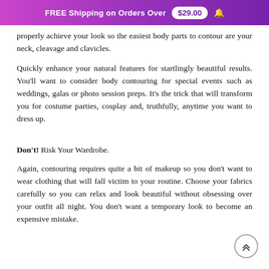FREE Shipping on Orders Over $29.00
properly achieve your look so the easiest body parts to contour are your neck, cleavage and clavicles.
Quickly enhance your natural features for startlingly beautiful results. You'll want to consider body contouring for special events such as weddings, galas or photo session preps. It's the trick that will transform you for costume parties, cosplay and, truthfully, anytime you want to dress up.
Don't! Risk Your Wardrobe.
Again, contouring requires quite a bit of makeup so you don't want to wear clothing that will fall victim to your routine. Choose your fabrics carefully so you can relax and look beautiful without obsessing over your outfit all night. You don't want a temporary look to become an expensive mistake.